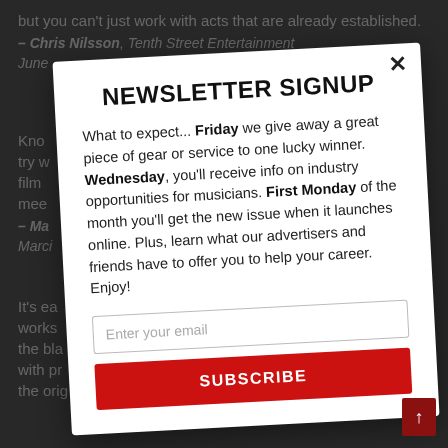but you can't just work with acts that are already established.
– Chris Nilsson, Tenth Street Entertainment
June
Kno... try... film... mee...
– Ma... Marci...
It's ea... works ... the bla... with pr... the orig...
NEWSLETTER SIGNUP
What to expect... Friday we give away a great piece of gear or service to one lucky winner. Wednesday, you'll receive info on industry opportunities for musicians. First Monday of the month you'll get the new issue when it launches online. Plus, learn what our advertisers and friends have to offer you to help your career. Enjoy!
Enter your email
SUBSCRIBE